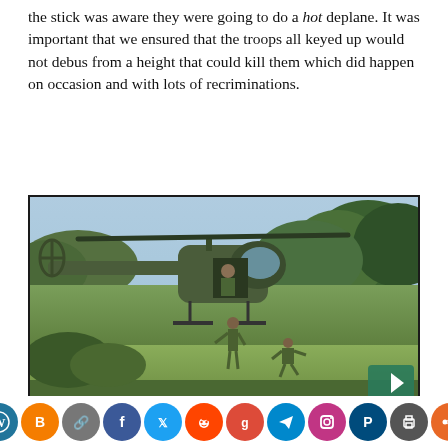the stick was aware they were going to do a hot deplane. It was important that we ensured that the troops all keyed up would not debus from a height that could kill them which did happen on occasion and with lots of recriminations.
[Figure (photo): Military helicopter hovering low over grassy field; soldiers can be seen deploying from the helicopter onto the ground below. Dense green vegetation and trees visible in background.]
[Figure (infographic): Social media sharing icon bar at bottom: WordPress, Blogger, Link, Facebook, Twitter, Reddit, Google+, Telegram, Instagram, Pixiv, Print, Share icons in colored circles.]